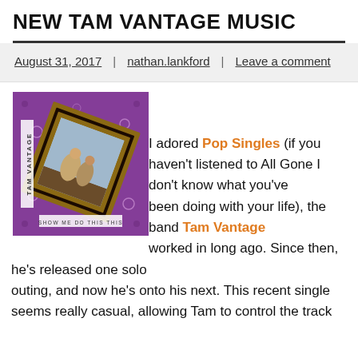NEW TAM VANTAGE MUSIC
August 31, 2017 | nathan.lankford | Leave a comment
[Figure (photo): Album cover art for Tam Vantage, showing a purple bandana-patterned background with a rotated square frame containing a photograph of musicians, with text labels on the side and bottom.]
I adored Pop Singles (if you haven't listened to All Gone I don't know what you've been doing with your life), the band Tam Vantage worked in long ago. Since then, he's released one solo outing, and now he's onto his next. This recent single seems really casual, allowing Tam to control the track